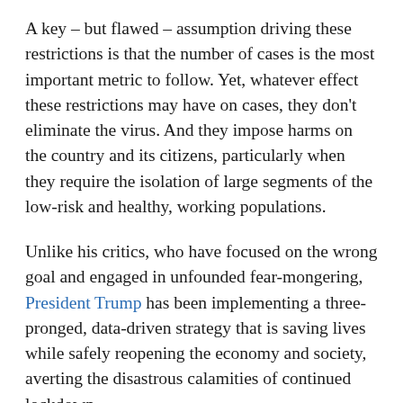A key – but flawed – assumption driving these restrictions is that the number of cases is the most important metric to follow. Yet, whatever effect these restrictions may have on cases, they don't eliminate the virus. And they impose harms on the country and its citizens, particularly when they require the isolation of large segments of the low-risk and healthy, working populations.
Unlike his critics, who have focused on the wrong goal and engaged in unfounded fear-mongering, President Trump has been implementing a three-pronged, data-driven strategy that is saving lives while safely reopening the economy and society, averting the disastrous calamities of continued lockdown.
First is protecting the high-risk group with an unprecedented focus. This is being done by relying upon highly detailed, real-time monitoring; a smart, prioritized, intensive testing strategy for nursing home staff and...